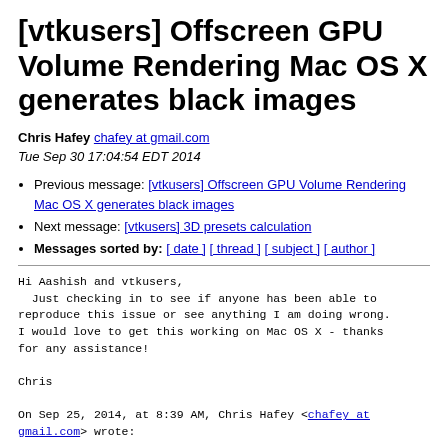[vtkusers] Offscreen GPU Volume Rendering Mac OS X generates black images
Chris Hafey chafey at gmail.com
Tue Sep 30 17:04:54 EDT 2014
Previous message: [vtkusers] Offscreen GPU Volume Rendering Mac OS X generates black images
Next message: [vtkusers] 3D presets calculation
Messages sorted by: [ date ] [ thread ] [ subject ] [ author ]
Hi Aashish and vtkusers,
  Just checking in to see if anyone has been able to
reproduce this issue or see anything I am doing wrong.
I would love to get this working on Mac OS X - thanks
for any assistance!

Chris

On Sep 25, 2014, at 8:39 AM, Chris Hafey <chafey at
gmail.com> wrote: